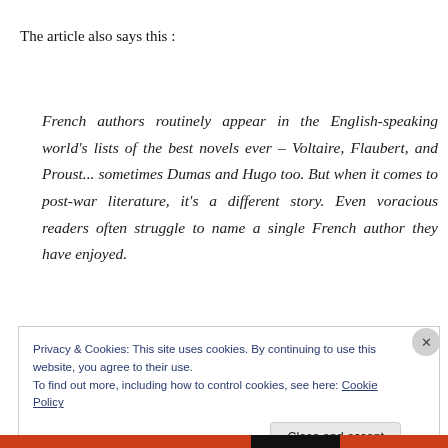The article also says this :
French authors routinely appear in the English-speaking world's lists of the best novels ever – Voltaire, Flaubert, and Proust... sometimes Dumas and Hugo too. But when it comes to post-war literature, it's a different story. Even voracious readers often struggle to name a single French author they have enjoyed.
Privacy & Cookies: This site uses cookies. By continuing to use this website, you agree to their use.
To find out more, including how to control cookies, see here: Cookie Policy
Close and accept